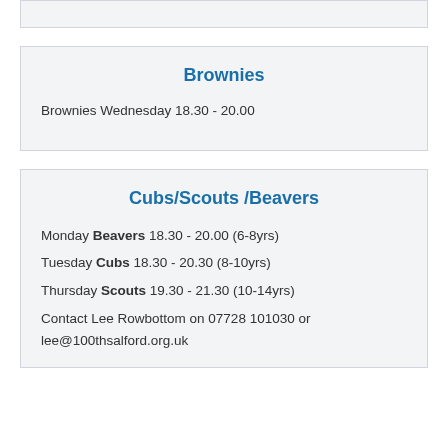Brownies
Brownies Wednesday 18.30 - 20.00
Cubs/Scouts /Beavers
Monday Beavers 18.30 - 20.00 (6-8yrs)
Tuesday Cubs 18.30 - 20.30 (8-10yrs)
Thursday Scouts 19.30 - 21.30 (10-14yrs)
Contact Lee Rowbottom on 07728 101030 or lee@100thsalford.org.uk